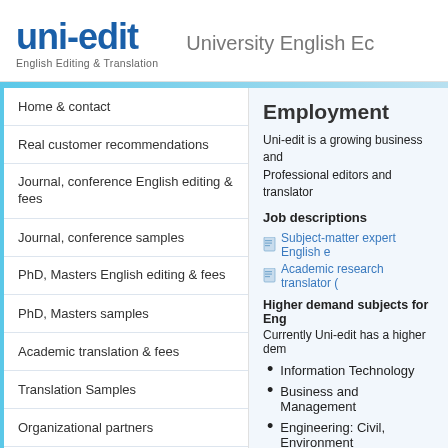[Figure (logo): uni-edit logo with text 'English Editing & Translation']
University English Ec
Home & contact
Real customer recommendations
Journal, conference English editing & fees
Journal, conference samples
PhD, Masters English editing & fees
PhD, Masters samples
Academic translation & fees
Translation Samples
Organizational partners
Employment
Uni-edit is a growing business and Professional editors and translator
Job descriptions
Subject-matter expert English e
Academic research translator (
Higher demand subjects for Eng
Currently Uni-edit has a higher dem
Information Technology
Business and Management
Engineering: Civil, Environment